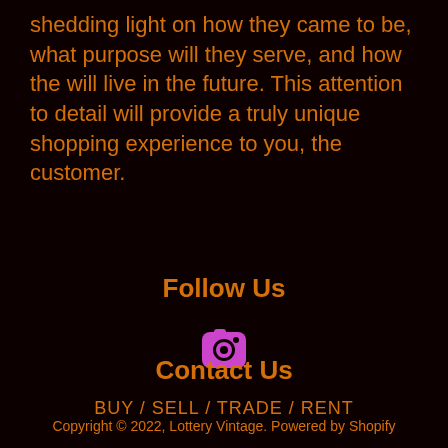shedding light on how they came to be, what purpose will they serve, and how the will live in the future. This attention to detail will provide a truly unique shopping experience to you, the customer.
Follow Us
[Figure (illustration): Pink Instagram camera icon]
Contact Us
BUY / SELL / TRADE / RENT
Copyright © 2022, Lottery Vintage. Powered by Shopify